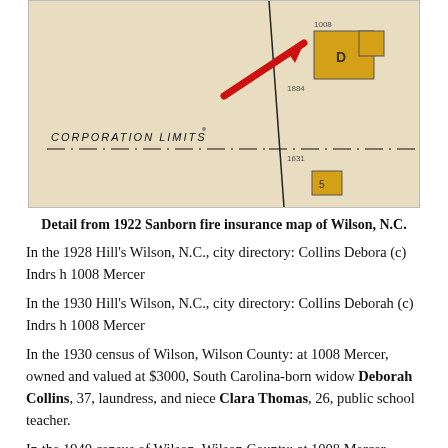[Figure (map): Detail from 1922 Sanborn fire insurance map of Wilson, N.C. showing buildings, corporation limits boundary, and a red arrow pointing to a location.]
Detail from 1922 Sanborn fire insurance map of Wilson, N.C.
In the 1928 Hill's Wilson, N.C., city directory: Collins Debora (c) Indrs h 1008 Mercer
In the 1930 Hill's Wilson, N.C., city directory: Collins Deborah (c) Indrs h 1008 Mercer
In the 1930 census of Wilson, Wilson County: at 1008 Mercer, owned and valued at $3000, South Carolina-born widow Deborah Collins, 37, laundress, and niece Clara Thomas, 26, public school teacher.
In the 1940 census of Wilson, Wilson County: at 1008 Mercer, rented at $40/month...